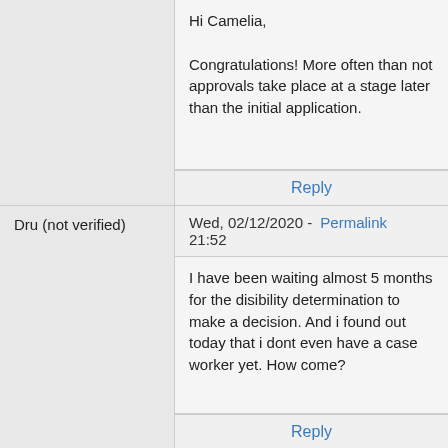Hi Camelia,

Congratulations! More often than not approvals take place at a stage later than the initial application.
Reply
Dru (not verified)
Wed, 02/12/2020 - Permalink 21:52
I have been waiting almost 5 months for the disibility determination to make a decision. And i found out today that i dont even have a case worker yet. How come?
Reply